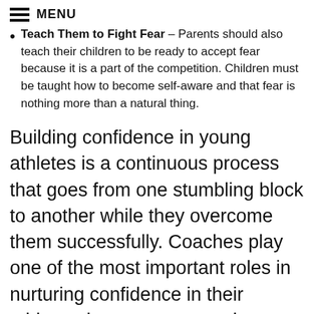MENU
Teach Them to Fight Fear – Parents should also teach their children to be ready to accept fear because it is a part of the competition. Children must be taught how to become self-aware and that fear is nothing more than a natural thing.
Building confidence in young athletes is a continuous process that goes from one stumbling block to another while they overcome them successfully. Coaches play one of the most important roles in nurturing confidence in their athletes, but parents can also contribute in a big way to the process.